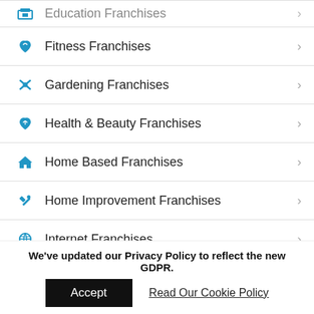Education Franchises
Fitness Franchises
Gardening Franchises
Health & Beauty Franchises
Home Based Franchises
Home Improvement Franchises
Internet Franchises
Merchandising Franchises
Pet Franchises
Photography Franchises
We've updated our Privacy Policy to reflect the new GDPR.
Accept
Read Our Cookie Policy